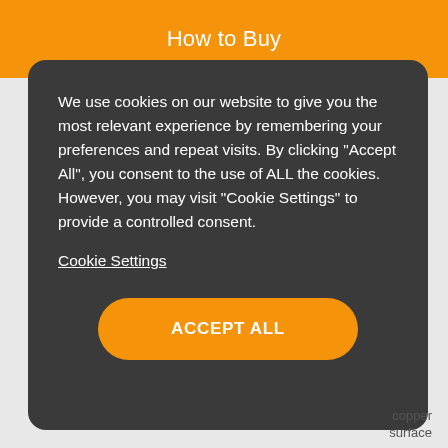How to Buy
We use cookies on our website to give you the most relevant experience by remembering your preferences and repeat visits. By clicking “Accept All”, you consent to the use of ALL the cookies. However, you may visit “Cookie Settings” to provide a controlled consent.
Cookie Settings
ACCEPT ALL
copper surface